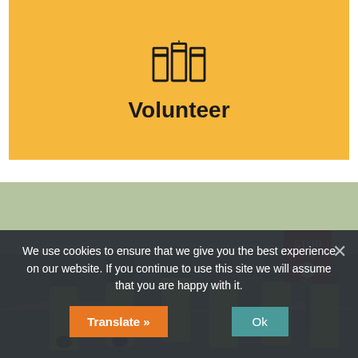[Figure (illustration): Yellow/gold banner with volunteer icon (raised fists/hands) and bold text 'Volunteer' below it]
Volunteer
[Figure (photo): Group of six adults in bright neon yellow safety vests standing at a road crossing. A Stop for Pedestrians sign is visible. They appear to be community volunteers or pedestrian safety volunteers. One person has a bicycle.]
We use cookies to ensure that we give you the best experience on our website. If you continue to use this site we will assume that you are happy with it.